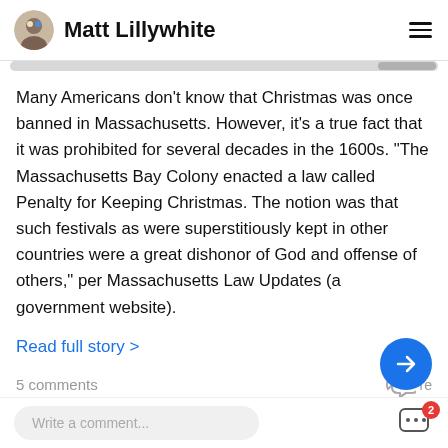Matt Lillywhite
Many Americans don't know that Christmas was once banned in Massachusetts. However, it's a true fact that it was prohibited for several decades in the 1600s. "The Massachusetts Bay Colony enacted a law called Penalty for Keeping Christmas. The notion was that such festivals as were superstitiously kept in other countries were a great dishonor of God and offense of others," per Massachusetts Law Updates (a government website).
Read full story >
5 comments